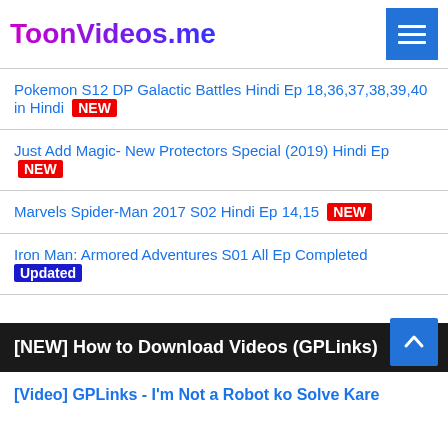ToonVideos.me
Pokemon S12 DP Galactic Battles Hindi Ep 18,36,37,38,39,40 in Hindi NEW
Just Add Magic- New Protectors Special (2019) Hindi Ep NEW
Marvels Spider-Man 2017 S02 Hindi Ep 14,15 NEW
Iron Man: Armored Adventures S01 All Ep Completed Updated
[NEW] How to Download Videos (GPLinks)
[Video] GPLinks - I'm Not a Robot ko Solve Kare